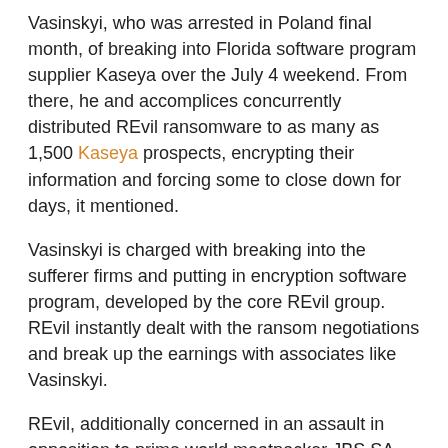Vasinskyi, who was arrested in Poland final month, of breaking into Florida software program supplier Kaseya over the July 4 weekend. From there, he and accomplices concurrently distributed REvil ransomware to as many as 1,500 Kaseya prospects, encrypting their information and forcing some to close down for days, it mentioned.
Vasinskyi is charged with breaking into the sufferer firms and putting in encryption software program, developed by the core REvil group. REvil instantly dealt with the ransom negotiations and break up the earnings with associates like Vasinskyi.
REvil, additionally concerned in an assault in opposition to prime world meatpacker JBS SA, was intercepted in a joint operation, the place authorities recovered $6 million (roughly Rs. 45.17 crore) in ransom funds.